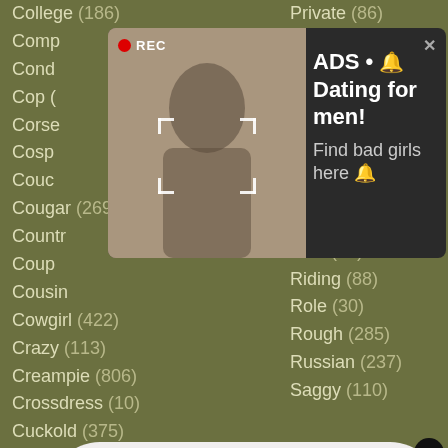College (186)
Private (86)
Comp...
Cond...
Cop (
Corse...
Cosp...
Couc...
Cougar (269)
Reality (138)
Countr...
Coup...
Cousi...
Cowgirl (422)
Revenge (9)
Crazy (113)
Rich (24)
Creampie (806)
Riding (88)
Crossdress (10)
Role (30)
Cuckold (375)
Rough (285)
Cum (2306)
Russian (237)
Cumshot (1460)
Saggy (110)
[Figure (photo): Ad popup with woman taking selfie in mirror, REC badge visible, dark background with text: ADS • Dating for men! Find bad girls here]
[Figure (photo): Ad popup with avatar image, LIVE badge, pink gradient background with text: ADS, Angel is typing ... (1) unread message]